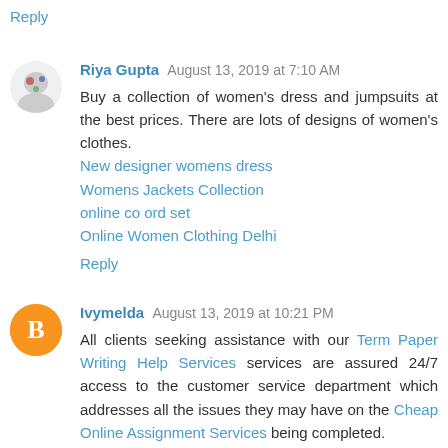Reply
Riya Gupta August 13, 2019 at 7:10 AM
Buy a collection of women's dress and jumpsuits at the best prices. There are lots of designs of women's clothes.
New designer womens dress
Womens Jackets Collection
online co ord set
Online Women Clothing Delhi
Reply
Ivymelda August 13, 2019 at 10:21 PM
All clients seeking assistance with our Term Paper Writing Help Services services are assured 24/7 access to the customer service department which addresses all the issues they may have on the Cheap Online Assignment Services being completed.
Reply